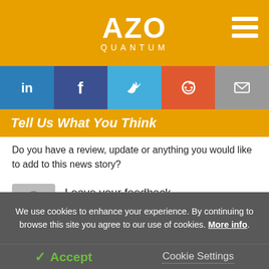AZO QUANTUM
[Figure (infographic): Social media sharing buttons: LinkedIn, Facebook, Twitter, Reddit, Email]
Tell Us What You Think
Do you have a review, update or anything you would like to add to this news story?
Leave your feedback
Login
We use cookies to enhance your experience. By continuing to browse this site you agree to our use of cookies. More info.
✓ Accept   Cookie Settings